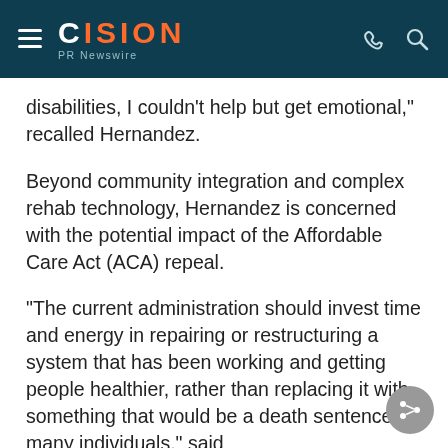CISION PR Newswire
disabilities, I couldn't help but get emotional," recalled Hernandez.
Beyond community integration and complex rehab technology, Hernandez is concerned with the potential impact of the Affordable Care Act (ACA) repeal.
"The current administration should invest time and energy in repairing or restructuring a system that has been working and getting people healthier, rather than replacing it with something that would be a death sentence for many individuals," said